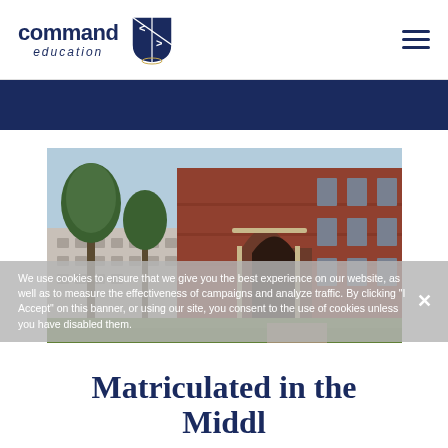command education (logo with shield icon and hamburger menu)
[Figure (photo): Photograph of red-brick university building (Harvard-style) with Gothic arched entrance, trees in foreground, courtyard visible, blue sky]
We use cookies to ensure that we give you the best experience on our website, as well as to measure the effectiveness of campaigns and analyze traffic. By clicking "I Accept" on this banner, or using our site, you consent to the use of cookies unless you have disabled them.
Matriculated in the Middle